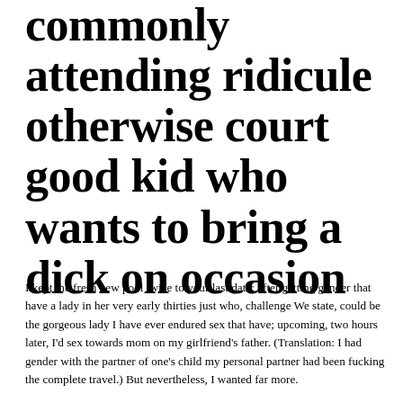commonly attending ridicule otherwise court good kid who wants to bring a dick on occasion
I kept the fresh new pool twice to your last date: after getting gender that have a lady in her very early thirties just who, challenge We state, could be the gorgeous lady I have ever endured sex that have; upcoming, two hours later, I'd sex towards mom on my girlfriend's father. (Translation: I had gender with the partner of one's child my personal partner had been fucking the complete travel.) But nevertheless, I wanted far more.